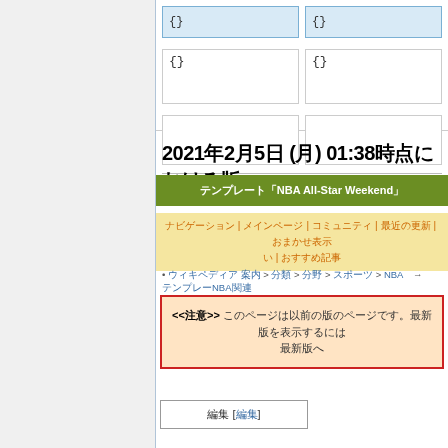[Figure (screenshot): UI form boxes with curly brace placeholders and one blue highlighted box]
2021年2月5日 (月) 01:38時点における版
テンプレート「NBA All-Star Weekend」
ナビゲーション　|　メインページ　|　コミュニティ　|　最近の更新　|　おまかせ表示　|　おすすめ記事
• ウィキペディア 案内 > 分類 > 分野 > スポーツ > NBA　→　テンプレートNBA関連
<<注意>> このページは以前の版のページです。最新版を表示するには 最新版へ
編集 [編集]